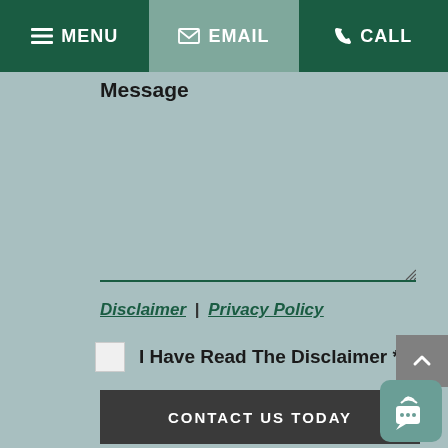MENU | EMAIL | CALL
Message
Disclaimer | Privacy Policy
I Have Read The Disclaimer *
CONTACT US TODAY